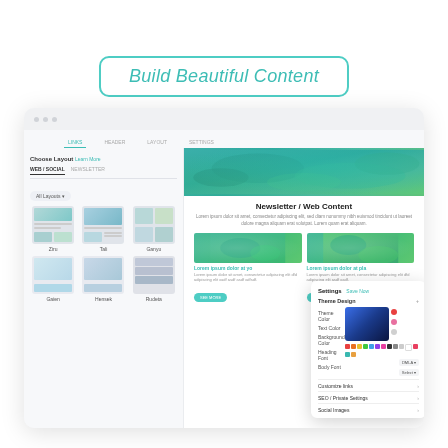Build Beautiful Content
[Figure (screenshot): A UI screenshot showing a content builder application with a left panel for choosing layouts (WEB/SOCIAL, NEWSLETTER tabs), a main preview area showing a newsletter/web content page with tropical images, and a settings panel on the right with theme design, color picker, and settings options.]